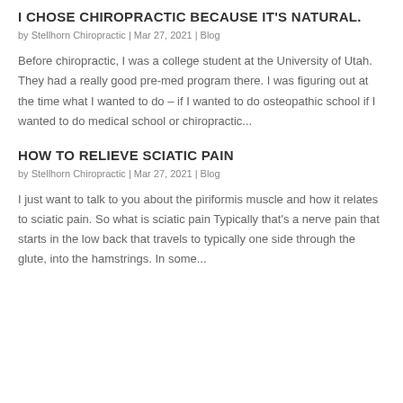I CHOSE CHIROPRACTIC BECAUSE IT'S NATURAL.
by Stellhorn Chiropractic | Mar 27, 2021 | Blog
Before chiropractic, I was a college student at the University of Utah. They had a really good pre-med program there. I was figuring out at the time what I wanted to do – if I wanted to do osteopathic school if I wanted to do medical school or chiropractic...
HOW TO RELIEVE SCIATIC PAIN
by Stellhorn Chiropractic | Mar 27, 2021 | Blog
I just want to talk to you about the piriformis muscle and how it relates to sciatic pain. So what is sciatic pain Typically that's a nerve pain that starts in the low back that travels to typically one side through the glute, into the hamstrings. In some...